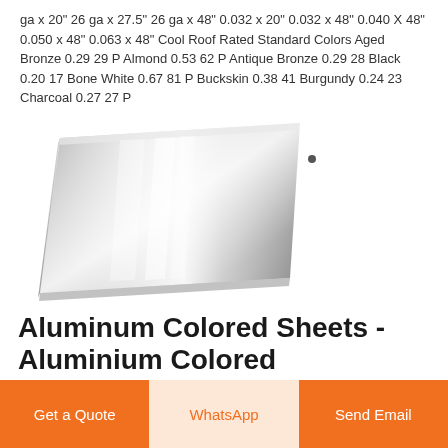ga x 20" 26 ga x 27.5" 26 ga x 48" 0.032 x 20" 0.032 x 48" 0.040 X 48" 0.050 x 48" 0.063 x 48" Cool Roof Rated Standard Colors Aged Bronze 0.29 29 P Almond 0.53 62 P Antique Bronze 0.29 28 Black 0.20 17 Bone White 0.67 81 P Buckskin 0.38 41 Burgundy 0.24 23 Charcoal 0.27 27 P
[Figure (photo): A metallic aluminum colored sheet photographed at an angle, showing a reflective silver surface with light reflections.]
Aluminum Colored Sheets - Aluminium Colored
Get a Quote
WhatsApp
Send Email